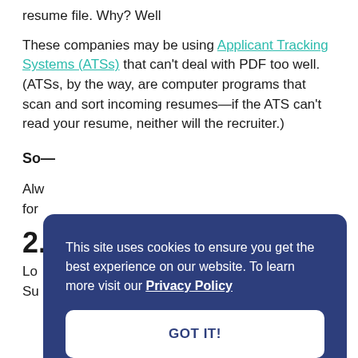resume file. Why? Well
These companies may be using Applicant Tracking Systems (ATSs) that can't deal with PDF too well. (ATSs, by the way, are computer programs that scan and sort incoming resumes—if the ATS can't read your resume, neither will the recruiter.)
So—
Alw... for...
2.
Lo... Su...
This site uses cookies to ensure you get the best experience on our website. To learn more visit our Privacy Policy
GOT IT!